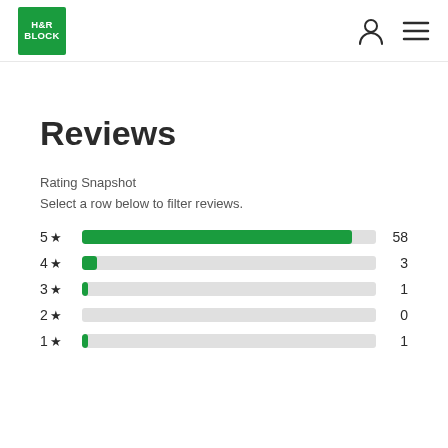[Figure (logo): H&R Block green logo]
Reviews
Rating Snapshot
Select a row below to filter reviews.
[Figure (bar-chart): Rating Snapshot]